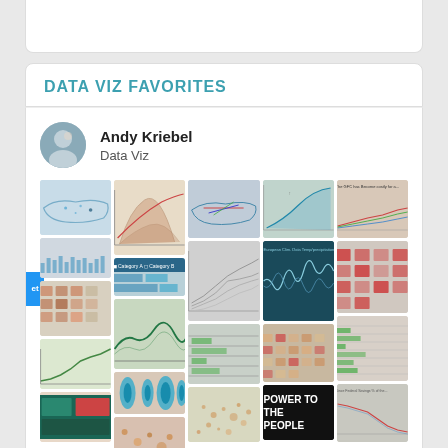DATA VIZ FAVORITES
Andy Kriebel
Data Viz
[Figure (infographic): A Pinterest-style grid of data visualization thumbnails including maps, charts, line graphs, and infographics attributed to Andy Kriebel. The thumbnails include US maps, scatter plots, line charts, histograms, table data, and bold text reading POWER TO THE PEOPLE.]